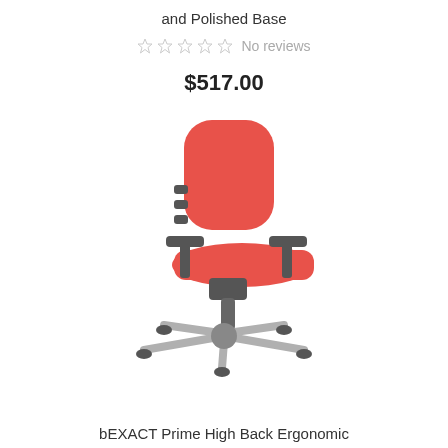and Polished Base
☆☆☆☆☆ No reviews
$517.00
[Figure (photo): A red ergonomic office chair with high back, adjustable armrests, and a polished five-star base with casters, shown from a side-front angle.]
bEXACT Prime High Back Ergonomic